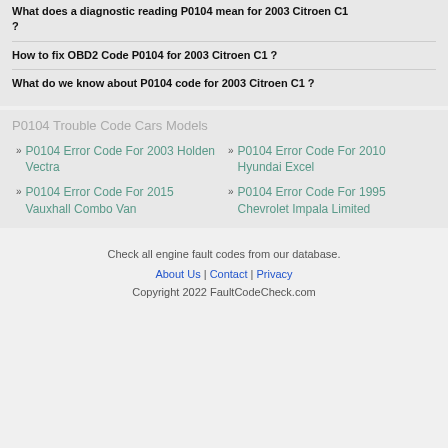What does a diagnostic reading P0104 mean for 2003 Citroen C1 ?
How to fix OBD2 Code P0104 for 2003 Citroen C1 ?
What do we know about P0104 code for 2003 Citroen C1 ?
P0104 Trouble Code Cars Models
P0104 Error Code For 2003 Holden Vectra
P0104 Error Code For 2010 Hyundai Excel
P0104 Error Code For 2015 Vauxhall Combo Van
P0104 Error Code For 1995 Chevrolet Impala Limited
Check all engine fault codes from our database.
About Us | Contact | Privacy
Copyright 2022 FaultCodeCheck.com